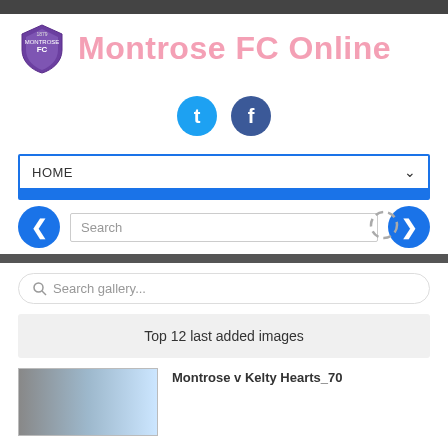Montrose FC Online
[Figure (logo): Montrose FC shield logo, purple and white]
Montrose FC Online
[Figure (illustration): Twitter and Facebook social icons (blue circles with t and f)]
HOME
Search
Search gallery...
Top 12 last added images
Montrose v Kelty Hearts_70